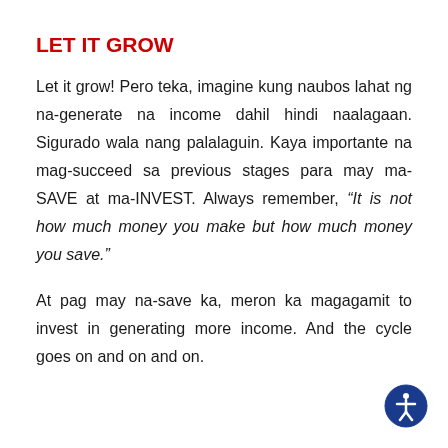LET IT GROW
Let it grow! Pero teka, imagine kung naubos lahat ng na-generate na income dahil hindi naalagaan. Sigurado wala nang palalaguin. Kaya importante na mag-succeed sa previous stages para may ma-SAVE at ma-INVEST. Always remember, “It is not how much money you make but how much money you save.”
At pag may na-save ka, meron ka magagamit to invest in generating more income. And the cycle goes on and on and on.